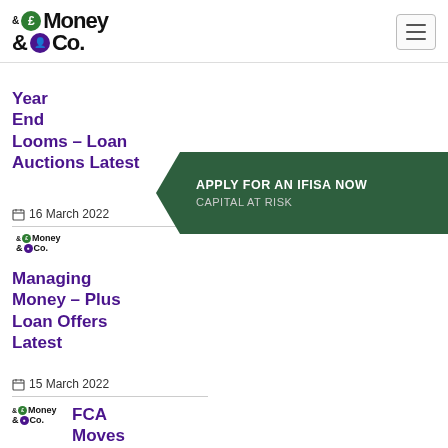Money &Co. logo and navigation
Year End Looms – Loan Auctions Latest
16 March 2022
[Figure (logo): Money &Co. small logo]
[Figure (infographic): Apply for an IFISA Now – Capital at Risk banner]
Managing Money – Plus Loan Offers Latest
15 March 2022
[Figure (logo): Money &Co. small logo]
FCA Moves To Ban